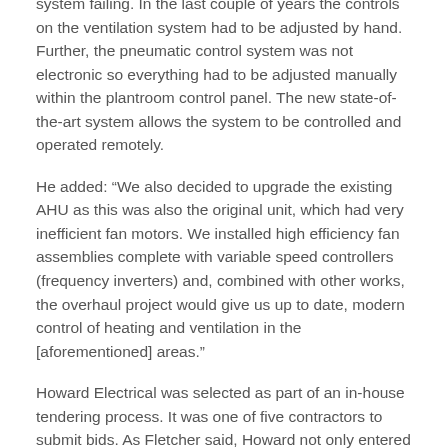system failing. In the last couple of years the controls on the ventilation system had to be adjusted by hand. Further, the pneumatic control system was not electronic so everything had to be adjusted manually within the plantroom control panel. The new state-of-the-art system allows the system to be controlled and operated remotely.
He added: “We also decided to upgrade the existing AHU as this was also the original unit, which had very inefficient fan motors. We installed high efficiency fan assemblies complete with variable speed controllers (frequency inverters) and, combined with other works, the overhaul project would give us up to date, modern control of heating and ventilation in the [aforementioned] areas.”
Howard Electrical was selected as part of an in-house tendering process. It was one of five contractors to submit bids. As Fletcher said, Howard not only entered the most competitive option, but it was backed by the company's own mechanical services installation team, which was favourable given the controls element of the assignment. Additionally, the lead consultant on the project, the Richard Stephens